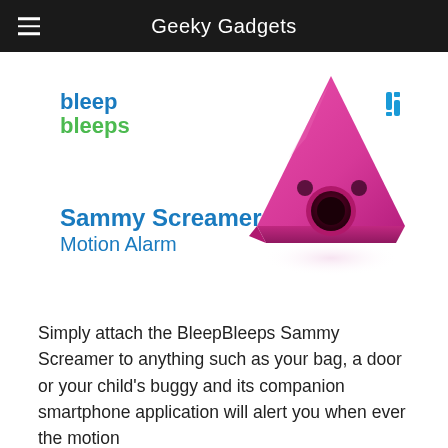Geeky Gadgets
[Figure (photo): BleepBleeps Sammy Screamer Motion Alarm product photo — pink triangular device with two circular eye holes and a large circular speaker opening, shown with its reflection on a white surface. Includes BleepBleeps logo and a small blue icon in the corner.]
Simply attach the BleepBleeps Sammy Screamer to anything such as your bag, a door or your child's buggy and its companion smartphone application will alert you when ever the motion